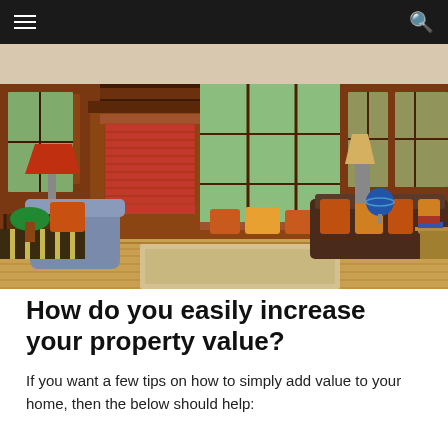Navigation bar with menu and search icons
[Figure (photo): Interior photo of a classic craftsman-style living room with dark wood paneling, brick fireplace, colorful throw pillows on window seats and leather sofa, tiffany-style lamp, globe, hardwood floors, and a neutral area rug. Bay windows with garden views.]
How do you easily increase your property value?
If you want a few tips on how to simply add value to your home, then the below should help: